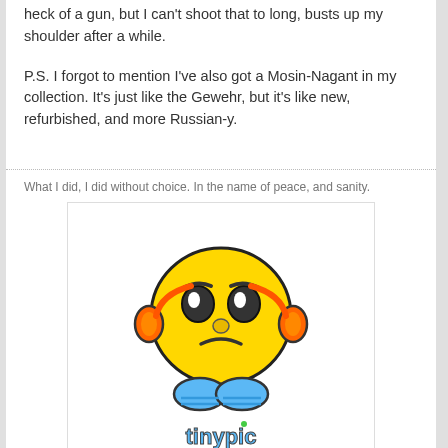heck of a gun, but I can't shoot that to long, busts up my shoulder after a while.
P.S. I forgot to mention I've also got a Mosin-Nagant in my collection. It's just like the Gewehr, but it's like new, refurbished, and more Russian-y.
What I did, I did without choice. In the name of peace, and sanity.
[Figure (illustration): A sad yellow smiley face emoji character with orange ear muffs and blue feet, with tinypic logo below it]